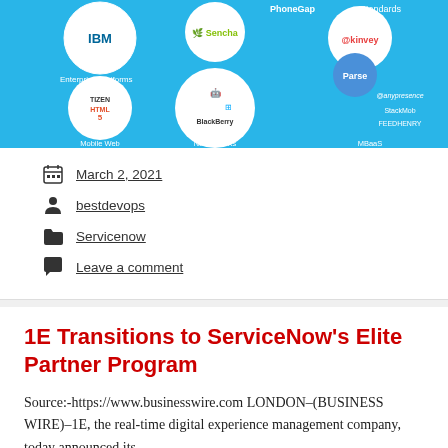[Figure (infographic): Mobile development platform infographic showing logos of Enterprise Platforms (IBM, Sencha, Kinvey, Parse, etc.), Mobile Web (Tizen, HTML5), Native SDKs (Android, Apple, BlackBerry, Windows), and MBaaS categories on a blue background with white circles.]
March 2, 2021
bestdevops
Servicenow
Leave a comment
1E Transitions to ServiceNow's Elite Partner Program
Source:-https://www.businesswire.com LONDON–(BUSINESS WIRE)–1E, the real-time digital experience management company, today announced its